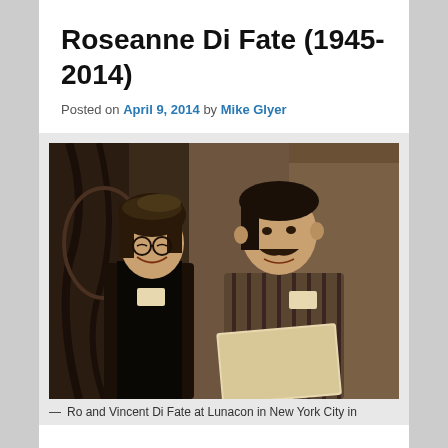Roseanne Di Fate (1945-2014)
Posted on April 9, 2014 by Mike Glyer
[Figure (photo): Sepia-toned photograph of Ro and Vincent Di Fate at Lunacon in New York City, smiling, Ro wearing glasses and a name badge, Vincent holding a large portfolio]
— Ro and Vincent Di Fate at Lunacon in New York City in